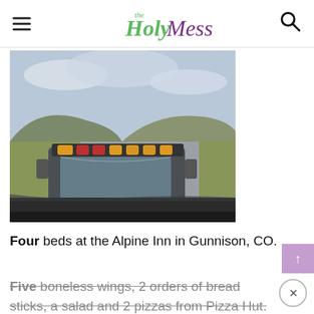the Holy Mess
[Figure (photo): View from inside a vehicle following a large truck with amber warning lights on its roof, driving on a rural highway with green hills and cloudy sky in the background.]
Four beds at the Alpine Inn in Gunnison, CO.
Five boneless wings, 2 orders of bread sticks, a salad and 2 pizzas from Pizza Hut.